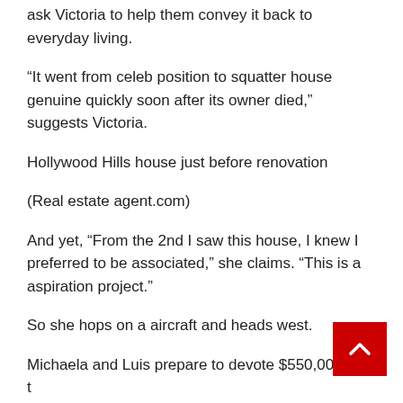ask Victoria to help them convey it back to everyday living.
“It went from celeb position to squatter house genuine quickly soon after its owner died,” suggests Victoria.
Hollywood Hills house just before renovation
(Real estate agent.com)
And yet, “From the 2nd I saw this house, I knew I preferred to be associated,” she claims. “This is a aspiration project.”
So she hops on a aircraft and heads west.
Michaela and Luis prepare to devote $550,000 on the renovation to accomplish a projected sale rate of $2.6 million—hopefully supplying them a revenue just north